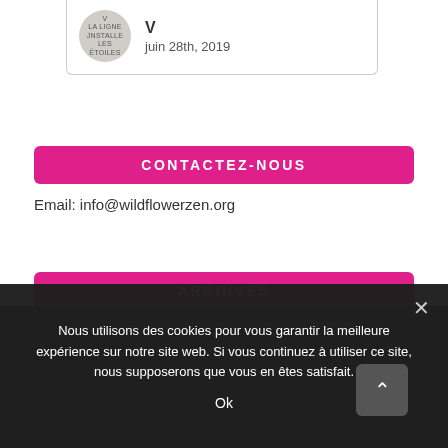[Figure (other): User avatar circle with small text overlay, showing name initial V and date juin 28th, 2019]
juin 28th, 2019
CONTACTEZ-NOUS
Email: info@wildflowerzen.org
ARCHIVES
Sélectionner un mois
Copyright 2015 Sangha Wild Flower Zen | All Rights Reserved | Site
Nous utilisons des cookies pour vous garantir la meilleure expérience sur notre site web. Si vous continuez à utiliser ce site, nous supposerons que vous en êtes satisfait.
Ok